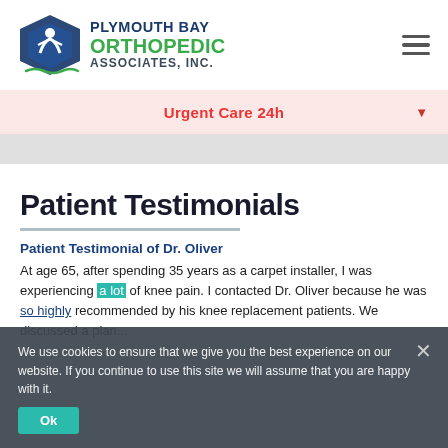[Figure (logo): Plymouth Bay Orthopedic Associates, Inc. logo with a blue and green geometric figure and wave underline]
Urgent Care 24h
Patient Testimonials
Patient Testimonial of Dr. Oliver
At age 65, after spending 35 years as a carpet installer, I was experiencing a lot of knee pain. I contacted Dr. Oliver because he was so highly recommended by his knee replacement patients. We discussed a plan...
We use cookies to ensure that we give you the best experience on our website. If you continue to use this site we will assume that you are happy with it.